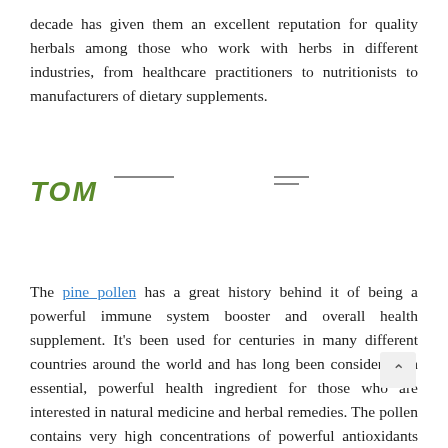decade has given them an excellent reputation for quality herbals among those who work with herbs in different industries, from healthcare practitioners to nutritionists to manufacturers of dietary supplements.
[Figure (logo): Partial logo with green italic bold text 'TOM' and horizontal lines]
The pine pollen has a great history behind it of being a powerful immune system booster and overall health supplement. It's been used for centuries in many different countries around the world and has long been considered an essential, powerful health ingredient for those who are interested in natural medicine and herbal remedies. The pollen contains very high concentrations of powerful antioxidants that can help to prevent cell damage, lower